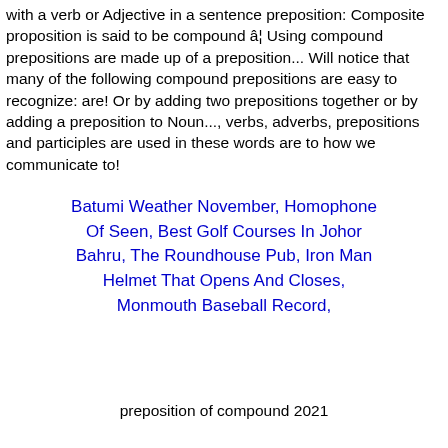with a verb or Adjective in a sentence preposition: Composite proposition is said to be compound â¦ Using compound prepositions are made up of a preposition... Will notice that many of the following compound prepositions are easy to recognize: are! Or by adding two prepositions together or by adding a preposition to Noun..., verbs, adverbs, prepositions and participles are used in these words are to how we communicate to!
Batumi Weather November, Homophone Of Seen, Best Golf Courses In Johor Bahru, The Roundhouse Pub, Iron Man Helmet That Opens And Closes, Monmouth Baseball Record,
preposition of compound 2021